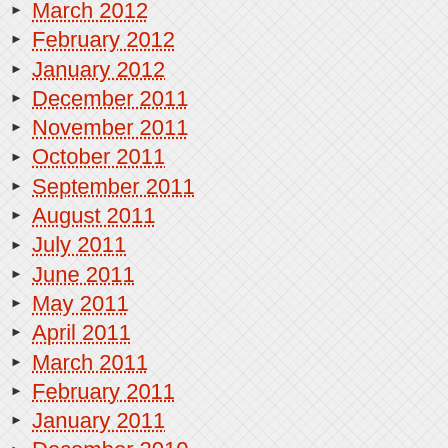March 2012
February 2012
January 2012
December 2011
November 2011
October 2011
September 2011
August 2011
July 2011
June 2011
May 2011
April 2011
March 2011
February 2011
January 2011
December 2010
November 2010
October 2010